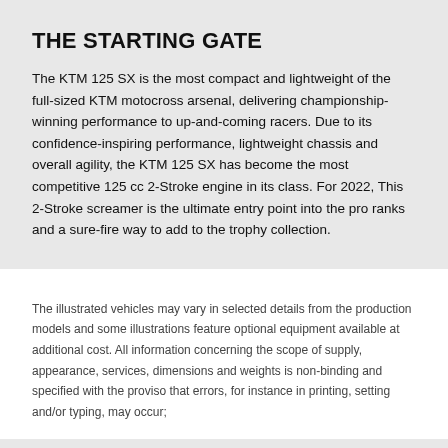THE STARTING GATE
The KTM 125 SX is the most compact and lightweight of the full-sized KTM motocross arsenal, delivering championship-winning performance to up-and-coming racers. Due to its confidence-inspiring performance, lightweight chassis and overall agility, the KTM 125 SX has become the most competitive 125 cc 2-Stroke engine in its class. For 2022, This 2-Stroke screamer is the ultimate entry point into the pro ranks and a sure-fire way to add to the trophy collection.
The illustrated vehicles may vary in selected details from the production models and some illustrations feature optional equipment available at additional cost. All information concerning the scope of supply, appearance, services, dimensions and weights is non-binding and specified with the proviso that errors, for instance in printing, setting and/or typing, may occur;